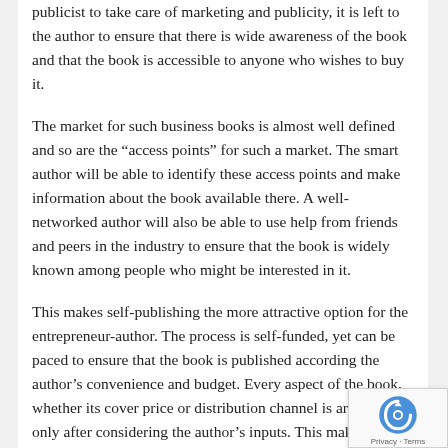publicist to take care of marketing and publicity, it is left to the author to ensure that there is wide awareness of the book and that the book is accessible to anyone who wishes to buy it.
The market for such business books is almost well defined and so are the “access points” for such a market. The smart author will be able to identify these access points and make information about the book available there. A well-networked author will also be able to use help from friends and peers in the industry to ensure that the book is widely known among people who might be interested in it.
This makes self-publishing the more attractive option for the entrepreneur-author. The process is self-funded, yet can be paced to ensure that the book is published according the author’s convenience and budget. Every aspect of the book, whether its cover price or distribution channel is arrived at only after considering the author’s inputs. This makes it easier